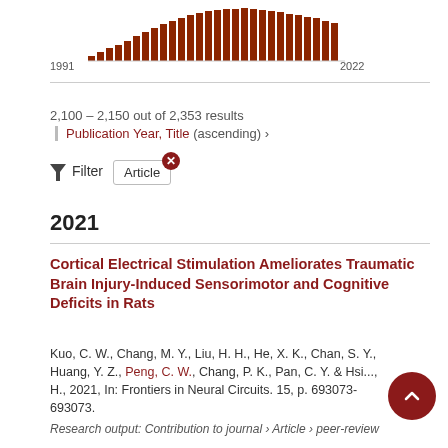[Figure (bar-chart): Publications 1991–2022]
2,100 – 2,150 out of 2,353 results
Publication Year, Title (ascending) ›
Filter  Article
2021
Cortical Electrical Stimulation Ameliorates Traumatic Brain Injury-Induced Sensorimotor and Cognitive Deficits in Rats
Kuo, C. W., Chang, M. Y., Liu, H. H., He, X. K., Chan, S. Y., Huang, Y. Z., Peng, C. W., Chang, P. K., Pan, C. Y. & Hsi..., H., 2021, In: Frontiers in Neural Circuits. 15, p. 693073-693073.
Research output: Contribution to journal › Article › peer-review